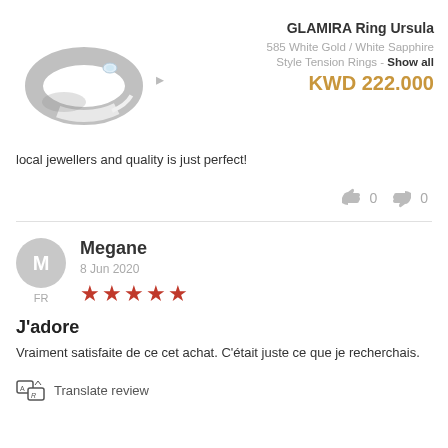[Figure (photo): Silver ring with white sapphire tension style setting (GLAMIRA Ring Ursula)]
GLAMIRA Ring Ursula
585 White Gold / White Sapphire
Style Tension Rings - Show all
KWD 222.000
local jewellers and quality is just perfect!
0  0
Megane
8 Jun 2020
★★★★★
J'adore
Vraiment satisfaite de ce cet achat. C'était juste ce que je recherchais.
Translate review